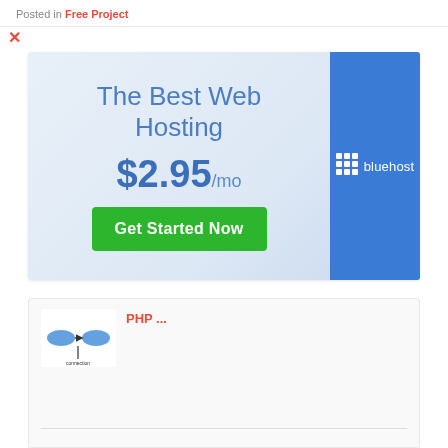Posted in Free Project
[Figure (screenshot): Bluehost web hosting advertisement banner. Left section has light blue gradient background with text 'The Best Web Hosting', '$2.95/mo', and a green 'Get Started Now' button. Right section is solid blue with Bluehost logo (grid icon and 'bluehost' text in white).]
[Figure (screenshot): Related post thumbnail showing a PHP flowchart diagram with connected oval shapes on a white card.]
PHP ...